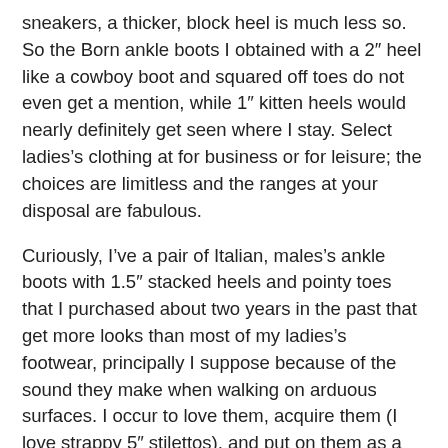sneakers, a thicker, block heel is much less so. So the Born ankle boots I obtained with a 2″ heel like a cowboy boot and squared off toes do not even get a mention, while 1″ kitten heels would nearly definitely get seen where I stay. Select ladies's clothing at for business or for leisure; the choices are limitless and the ranges at your disposal are fabulous.
Curiously, I've a pair of Italian, males's ankle boots with 1.5″ stacked heels and pointy toes that I purchased about two years in the past that get more looks than most of my ladies's footwear, principally I suppose because of the sound they make when walking on arduous surfaces. I occur to love them, acquire them (I love strappy 5″ stilettos), and put on them as a result of I really like the best way they look, the best way they really feel and the way in which they make me really feel.